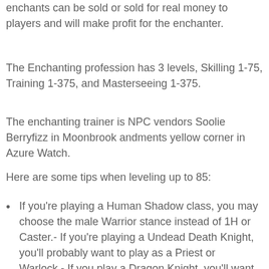enchants can be sold or sold for real money to players and will make profit for the enchanter.
The Enchanting profession has 3 levels, Skilling 1-75, Training 1-375, and Masterseeing 1-375.
The enchanting trainer is NPC vendors Soolie Berryfizz in Moonbrook andments yellow corner in Azure Watch.
Here are some tips when leveling up to 85:
If you're playing a Human Shadow class, you may choose the male Warrior stance instead of 1H or Caster.- If you're playing a Undead Death Knight, you'll probably want to play as a Priest or Warlock.- If you play a Dragon Knight, you'll want to play as either a Warrior, Priest, or Warlock.- Once you're a high